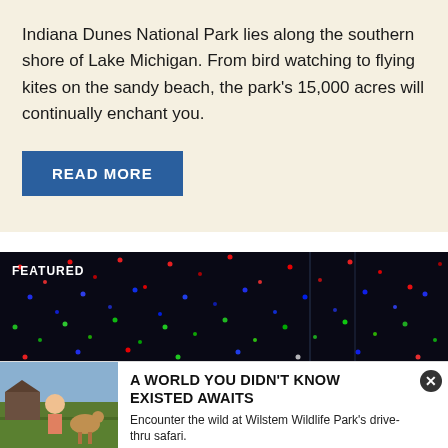Indiana Dunes National Park lies along the southern shore of Lake Michigan. From bird watching to flying kites on the sandy beach, the park's 15,000 acres will continually enchant you.
READ MORE
[Figure (photo): A dark night scene with colorful LED Christmas lights in red, blue, green, and white arranged in a dense display. Text overlay reads FEATURED in the top-left corner.]
[Figure (photo): Advertisement banner with a photo of a child feeding a young deer/fawn outdoors, alongside text promoting Wilstem Wildlife Park's drive-thru safari.]
A WORLD YOU DIDN'T KNOW EXISTED AWAITS Encounter the wild at Wilstem Wildlife Park's drive-thru safari.